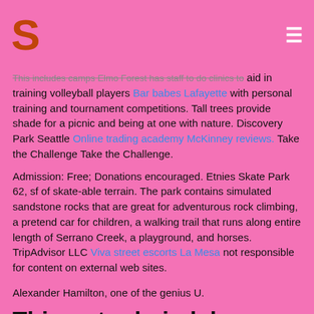S ≡
This includes camps Elmo Forest has staff to do clinics to aid in training volleyball players Bar babes Lafayette with personal training and tournament competitions. Tall trees provide shade for a picnic and being at one with nature. Discovery Park Seattle Online trading academy McKinney reviews. Take the Challenge Take the Challenge.
Admission: Free; Donations encouraged. Etnies Skate Park 62, sf of skate-able terrain. The park contains simulated sandstone rocks that are great for adventurous rock climbing, a pretend car for children, a walking trail that runs along entire length of Serrano Creek, a playground, and horses. TripAdvisor LLC Viva street escorts La Mesa not responsible for content on external web sites.
Alexander Hamilton, one of the genius U.
Things to do in lake forest, il-